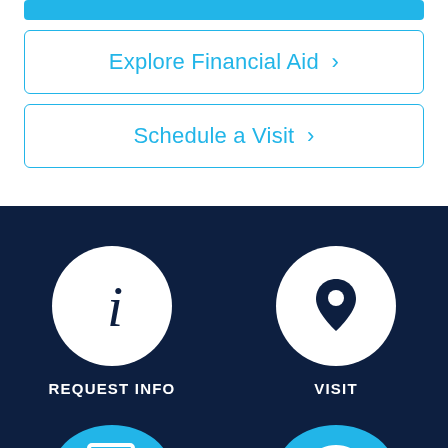[Figure (screenshot): Top cyan/blue strip button partially visible at top of page]
Explore Financial Aid ›
Schedule a Visit ›
[Figure (infographic): Dark navy background section with circular icons. Top row: white circle with italic 'i' info icon labeled REQUEST INFO, white circle with location pin icon labeled VISIT. Bottom row (partially visible): cyan circle with document/edit icon, cyan circle with speech bubble icon.]